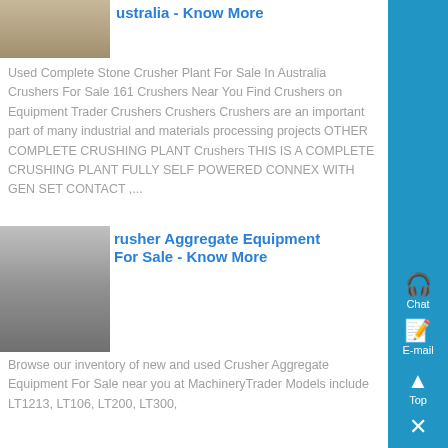[Figure (photo): Photo of stone crusher plant outdoor facility]
ustralia - Know More
Used Complete Stone Crusher Plant For Sale In Australia Crushers For Sale 161 Crushers Near You Find Crushers on Equipment Trader Crushers Crushers Crushers are an important part of many industrial and materials processing projects OTHER COMPLETE CRUSHING PLANT Crushers THIS IS A COMPLETE CRUSHING PLANT FULLY SELF POWERED CONNEX WITH GEN SET CONTACT ,...
[Figure (photo): Photo of crusher aggregate equipment indoors with large industrial tanks]
rusher Aggregate Equipment For Sale - Know More
Browse our inventory of new and used Crusher Aggregate Equipment For Sale near you at MachineryTrader Models include LT1213, LT106, LT200, LT300,